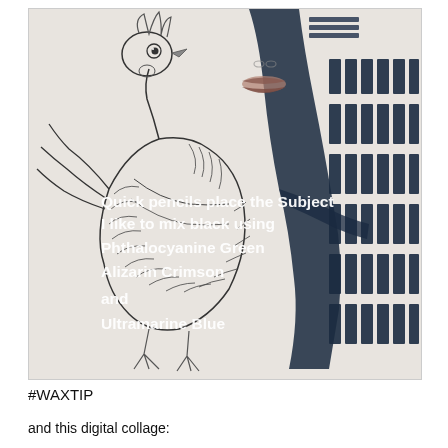[Figure (illustration): A pen-and-ink style illustration showing a rooster/chicken in the foreground drawn with fine line work, and a woman's face (lips and nose visible) behind it. The right side features bold black brushstroke marks arranged in a grid pattern. White overlay text reads: 'Quick pencils place the Subject / I like to mix black using / Phthalocyanine Green / Alizarin Crimson / and / Ultramarine Blue']
#WAXTIP
and this digital collage: